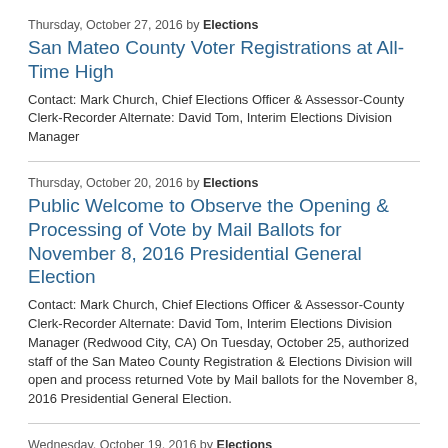Thursday, October 27, 2016 by Elections
San Mateo County Voter Registrations at All-Time High
Contact: Mark Church, Chief Elections Officer & Assessor-County Clerk-Recorder Alternate: David Tom, Interim Elections Division Manager
Thursday, October 20, 2016 by Elections
Public Welcome to Observe the Opening & Processing of Vote by Mail Ballots for November 8, 2016 Presidential General Election
Contact: Mark Church, Chief Elections Officer & Assessor-County Clerk-Recorder Alternate: David Tom, Interim Elections Division Manager (Redwood City, CA) On Tuesday, October 25, authorized staff of the San Mateo County Registration & Elections Division will open and process returned Vote by Mail ballots for the November 8, 2016 Presidential General Election.
Wednesday, October 19, 2016 by Elections
Filing Period for Local Write-In Candidates Closes